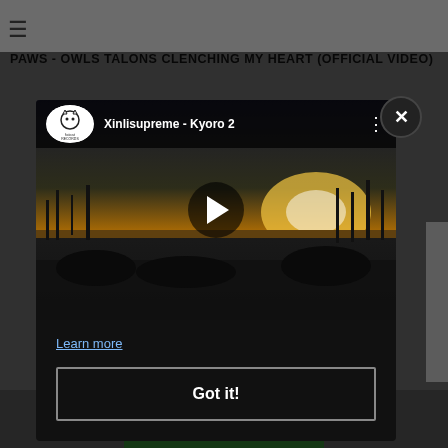≡
PAWS - OWLS TALONS CLENCHING MY HEART (OFFICIAL VIDEO)
[Figure (screenshot): YouTube video embed showing 'Xinlisupreme - Kyoro 2' with a scenic sunset/waterfront thumbnail, play button in center, FatCat Records logo and video title in top bar, and three-dot menu icon]
Learn more
Got it!